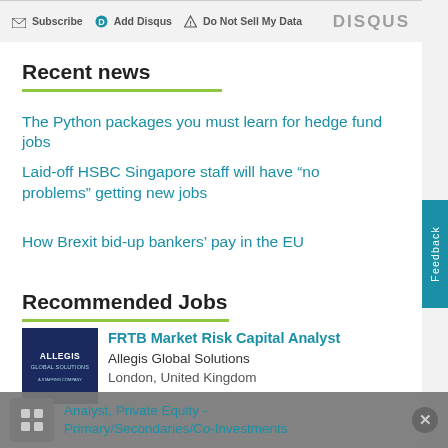Subscribe  Add Disqus  Do Not Sell My Data  DISQUS
Recent news
The Python packages you must learn for hedge fund jobs
Laid-off HSBC Singapore staff will have “no problems” getting new jobs
How Brexit bid-up bankers’ pay in the EU
Recommended Jobs
[Figure (logo): Allegis Global Solutions logo on dark navy background]
FRTB Market Risk Capital Analyst
Allegis Global Solutions
London, United Kingdom
Analyst, Private Equity - Primary/Secondaries/Co-Investments